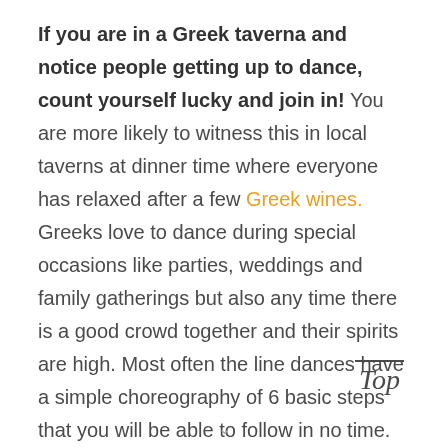If you are in a Greek taverna and notice people getting up to dance, count yourself lucky and join in! You are more likely to witness this in local taverns at dinner time where everyone has relaxed after a few Greek wines. Greeks love to dance during special occasions like parties, weddings and family gatherings but also any time there is a good crowd together and their spirits are high. Most often the line dances have a simple choreography of 6 basic steps that you will be able to follow in no time. And